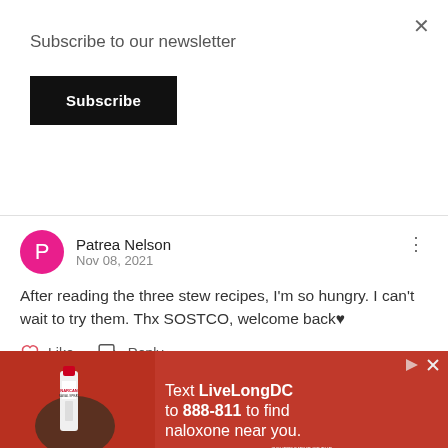Subscribe to our newsletter
Subscribe
Patrea Nelson
Nov 08, 2021
After reading the three stew recipes, I'm so hungry. I can't wait to try them. Thx SOSTCO, welcome back♥
Like   Reply
View 1 reply
[Figure (photo): Red advertisement banner: hand holding NARCAN nasal spray, text 'Text LiveLongDC to 888-811 to find naloxone near you.' with Live Long DC, DBH, and DC Government logos]